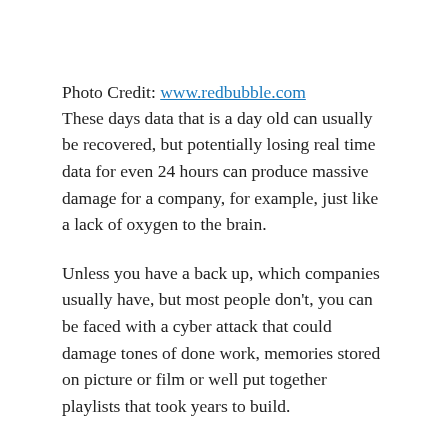Photo Credit: www.redbubble.com
These days data that is a day old can usually be recovered, but potentially losing real time data for even 24 hours can produce massive damage for a company, for example, just like a lack of oxygen to the brain.
Unless you have a back up, which companies usually have, but most people don't, you can be faced with a cyber attack that could damage tones of done work, memories stored on picture or film or well put together playlists that took years to build.